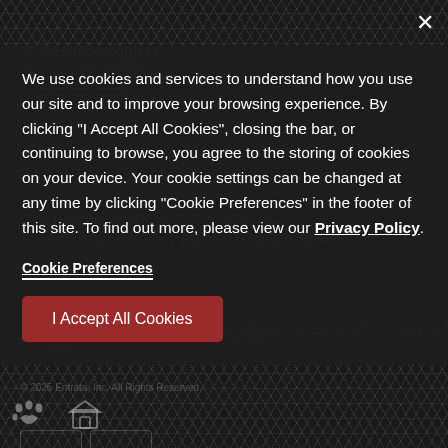5701 Hillsborough St
Raleigh, NC 27606
p: (919) 980-4203
Office Hours: Monday-Friday: 10:00 am - 6:00 pm
Saturday: 10:00 am - 5:00 pm  Sunday: 12:00 pm - 5:00 pm
PeakMade Privacy Policy · PeakMade Terms of Use
We use cookies and services to understand how you use our site and to improve your browsing experience. By clicking "I Accept All Cookies", closing the bar, or continuing to browse, you agree to the storing of cookies on your device. Your cookie settings can be changed at any time by clicking "Cookie Preferences" in the footer of this site. To find out more, please view our Privacy Policy.
Cookie Preferences
I Accept All Cookies
Sitemap · Privacy Policy · Cookie Preferences · Entrata Site Accessibility Statement · Digital Accessibility
© 2025 Entrata, Inc. All Rights Reserved.